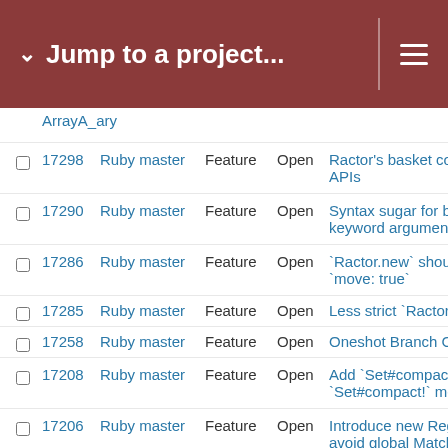Jump to a project...
17298 Ruby master Feature Open Ractor's basket comr APIs
17290 Ruby master Feature Open Syntax sugar for boo keyword argument
17286 Ruby master Feature Open `Ractor.new` should `move: true`
17285 Ruby master Feature Open Less strict `Ractor.se
17258 Ruby master Feature Open Oneshot Branch Cov
17208 Ruby master Feature Open Add `Set#compact` a `Set#compact!` meth
17206 Ruby master Feature Open Introduce new Regex avoid global MatchDa allocations
17166 Ruby master Feature Open net/http not supportin domain sockets
17165 Ruby master Feature Open Add `filter` and `flatte keywords to `Enumer
17163 Ruby master Feature Open Rename `begin`
17156 Ruby master Feature Open Refinements per dire
17155 Ruby master Feature Open Add a Diggable mixin